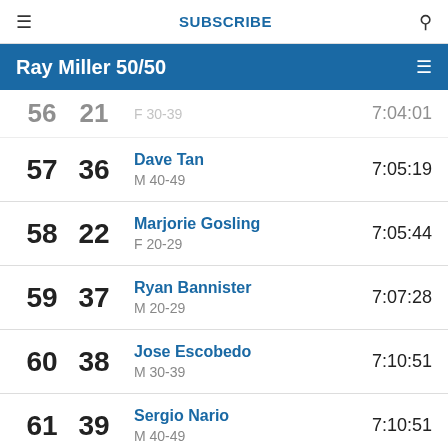≡  SUBSCRIBE  🔍
Ray Miller 50/50
| Overall | Age Grp | Name / Category | Time |
| --- | --- | --- | --- |
| 56 | 21 | F 30-39 | 7:04:01 |
| 57 | 36 | Dave Tan
M 40-49 | 7:05:19 |
| 58 | 22 | Marjorie Gosling
F 20-29 | 7:05:44 |
| 59 | 37 | Ryan Bannister
M 20-29 | 7:07:28 |
| 60 | 38 | Jose Escobedo
M 30-39 | 7:10:51 |
| 61 | 39 | Sergio Nario
M 40-49 | 7:10:51 |
| 62 | 40 | Tim Vanderhoof | 7:13:44 |